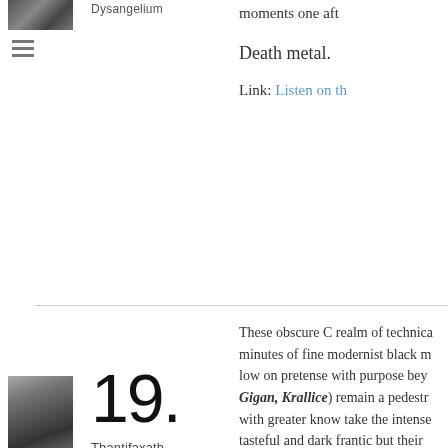[Figure (photo): Album art image, partially visible at top left]
≡
Dysangelium
moments one aft
Death metal.
Link: Listen on th
These obscure C realm of technica minutes of fine modernist black m low on pretense with purpose bey Gigan, Krallice) remain a pedestr with greater know take the intense tasteful and dark frantic but their date.
[Figure (photo): Album art for Thantifaxath - Void Masquerading as Matter]
19.
Thantifaxath
Void Masquerading as Matter